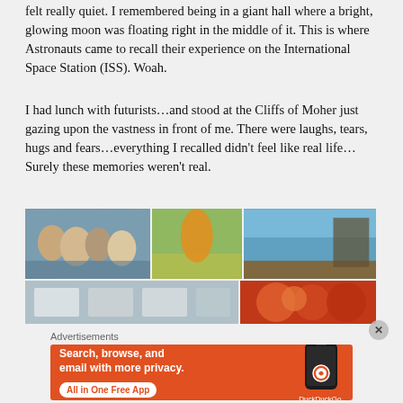felt really quiet. I remembered being in a giant hall where a bright, glowing moon was floating right in the middle of it. This is where Astronauts came to recall their experience on the International Space Station (ISS). Woah.
I had lunch with futurists…and stood at the Cliffs of Moher just gazing upon the vastness in front of me. There were laughs, tears, hugs and fears…everything I recalled didn't feel like real life…Surely these memories weren't real.
[Figure (photo): A collage of six photos arranged in two rows: top row has a group selfie of four people, a person in a yellow outfit outdoors, and a scenic coastal cliff panorama; bottom row has an interior space and a warm-toned crowd photo.]
Advertisements
[Figure (illustration): DuckDuckGo advertisement banner with orange background, white text reading 'Search, browse, and email with more privacy. All in One Free App', and a smartphone graphic with DuckDuckGo logo.]